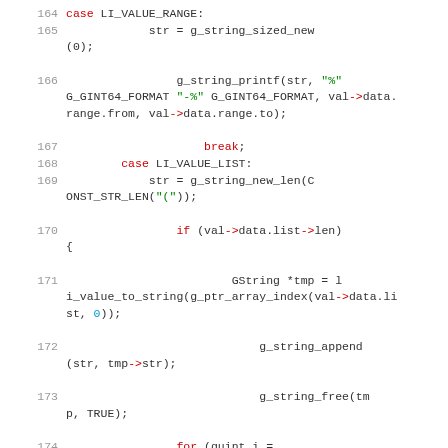[Figure (screenshot): Source code listing in C showing lines 164–175 of a function handling LI_VALUE_RANGE and LI_VALUE_LIST cases. Code uses syntax highlighting: keywords in red, string literals in green, numeric literals in cyan, and regular code in dark gray. Line numbers shown in gray on the left.]